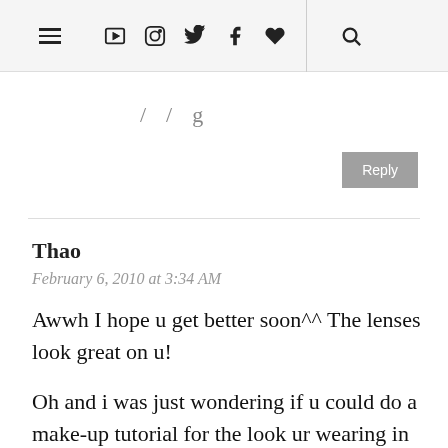≡ ▶ 📷 🐦 f ♥ 🔍
/ / g
Reply
Thao
February 6, 2010 at 3:34 AM
Awwh I hope u get better soon^^ The lenses look great on u!
Oh and i was just wondering if u could do a make-up tutorial for the look ur wearing in ur Japanese hair curling tutorial, i really love that look! But of